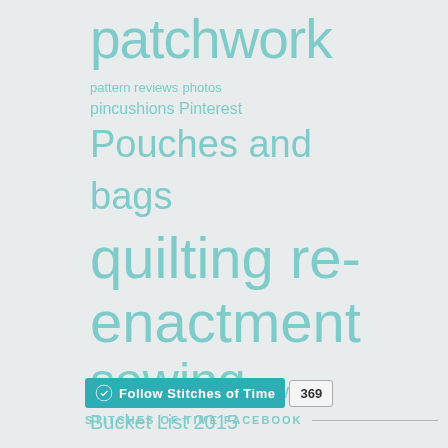[Figure (infographic): Tag cloud with words of varying sizes in teal/mint color on light grey background. Words include: patchwork, pattern reviews, photos, pincushions, Pinterest, Pouches and bags, quilting, re-enactment, sewing, Sewing Bucket List 2015, Spain, Steampunk, textiles, travel, Uncategorized, videos, vintage textiles, vlogs, walks, whitework, ww2, xmas ornies]
[Figure (infographic): Follow button: teal WordPress icon button reading 'Follow Stitches of Time' with follower count badge '369']
STITCHES OF TIME FACEBOOK